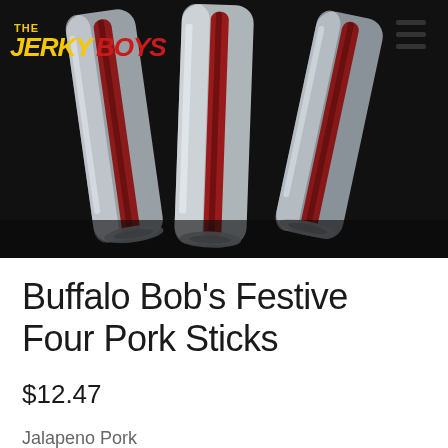[Figure (photo): Three vacuum-sealed pork stick packages standing upright on a dark background, showing red meat sticks inside clear silver packaging. The Jerky Boys logo is visible in the top-left corner of the image.]
Buffalo Bob's Festive Four Pork Sticks
$12.47
Jalapeno Pork